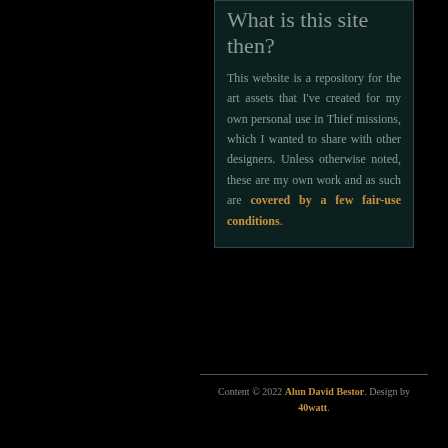What is this site then?
This website is a repository for the art assets that I've created for my own personal use in Thief missions, which I wanted to share with other designers. Unless otherwise noted, these are my own work and as such are covered by a few fair-use conditions.
Content © 2022 Alun David Bestor. Design by 40watt.